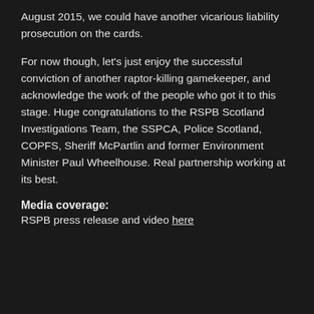August 2015, we could have another vicarious liability prosecution on the cards.
For now though, let's just enjoy the successful conviction of another raptor-killing gamekeeper, and acknowledge the work of the people who got it to this stage. Huge congratulations to the RSPB Scotland Investigations Team, the SSPCA, Police Scotland, COPFS, Sheriff McPartlin and former Environment Minister Paul Wheelhouse. Real partnership working at its best.
Media coverage:
RSPB press release and video here